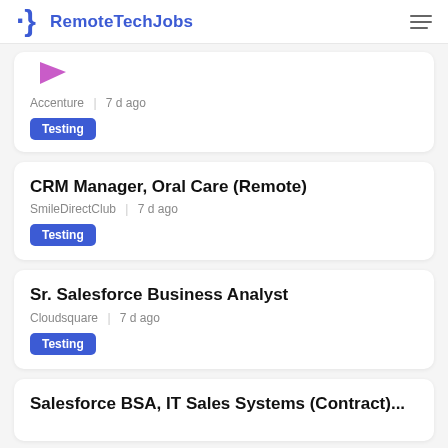RemoteTechJobs
[Figure (logo): RemoteTechJobs logo with curly brace icon]
Accenture  |  7 d ago
Testing
CRM Manager, Oral Care (Remote)
SmileDirectClub  |  7 d ago
Testing
Sr. Salesforce Business Analyst
Cloudsquare  |  7 d ago
Testing
Salesforce BSA, IT Sales Systems (Contract)...